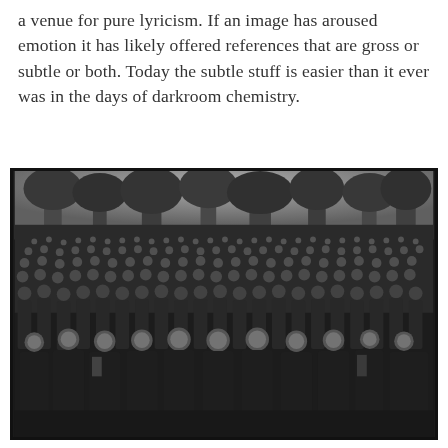a venue for pure lyricism. If an image has aroused emotion it has likely offered references that are gross or subtle or both. Today the subtle stuff is easier than it ever was in the days of darkroom chemistry.
[Figure (photo): Large black-and-white group photograph showing hundreds of men standing outdoors in rows, with trees visible in the background. The men in the foreground are more clearly visible, many holding hats, wearing work clothes and overalls. The image has a dark border frame.]